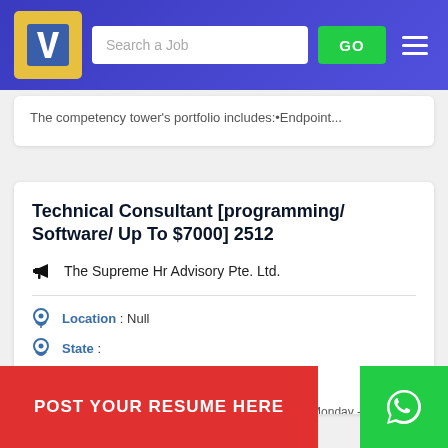Search a Job GO
The competency tower's portfolio includes:•Endpoint...
Technical Consultant [programming/ Software/ Up To $7000] 2512
The Supreme Hr Advisory Pte. Ltd.
Location : Null
State :
Industry : Computers / IT
Office Location: Toa PayohClient Site: Pasir PanjangMonday -
POST YOUR RESUME HERE